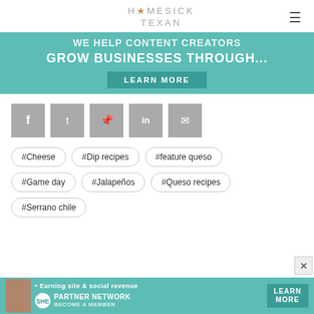HOMESICK TEXAN
[Figure (infographic): Teal advertisement banner with text 'WE HELP CONTENT CREATORS GROW BUSINESSES THROUGH...' and a 'LEARN MORE' button]
[Figure (infographic): Social sharing buttons row: Facebook, Twitter, Pinterest, LinkedIn, Email — all in gray square buttons]
#Cheese
#Dip recipes
#feature queso
#Game day
#Jalapeños
#Queso recipes
#Serrano chile
[Figure (infographic): Bottom teal banner ad for SHE Media Partner Network with avatar, text '• Earning site & social revenue', SHE logo, and LEARN MORE button]